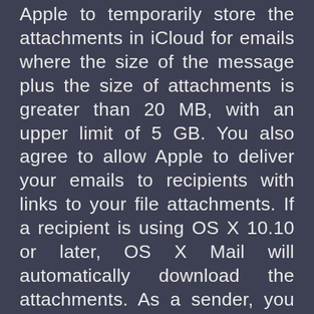Apple to temporarily store the attachments in iCloud for emails where the size of the message plus the size of attachments is greater than 20 MB, with an upper limit of 5 GB. You also agree to allow Apple to deliver your emails to recipients with links to your file attachments. If a recipient is using OS X 10.10 or later, OS X Mail will automatically download the attachments. As a sender, you and all recipients should not notice a significant change in the way you send and receive emails and attachments. Temporary storage of large email attachments will not count towards your storage limit. These